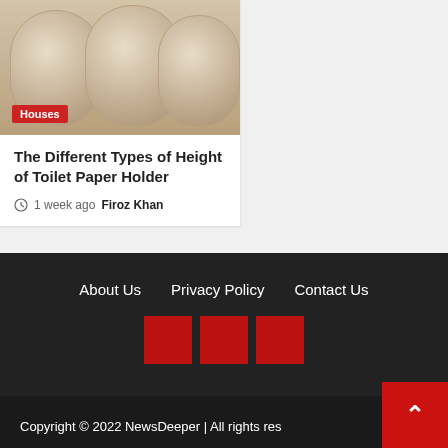[Figure (photo): Three rolls of toilet paper standing upright on a dark surface, cream/beige colored]
Houses
The Different Types of Height of Toilet Paper Holder
1 week ago  Firoz Khan
About Us  Privacy Policy  Contact Us
Copyright © 2022 NewsDeeper | All rights res…